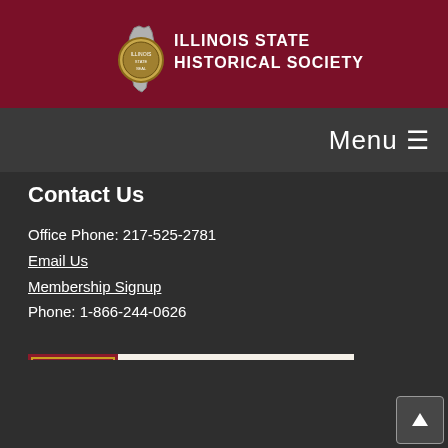[Figure (logo): Illinois State Historical Society logo with Illinois state outline and organization name]
Menu ≡
Contact Us
Office Phone: 217-525-2781
Email Us
Membership Signup
Phone: 1-866-244-0626
[Figure (illustration): JSTOR and Journal of the Illinois State Historical Society banner image featuring Abraham Lincoln portrait]
Illinois State Historical Society  |  Strawbridge-Shepherd House  |  PO Box 1800  |  Springfield, IL 62705-1800